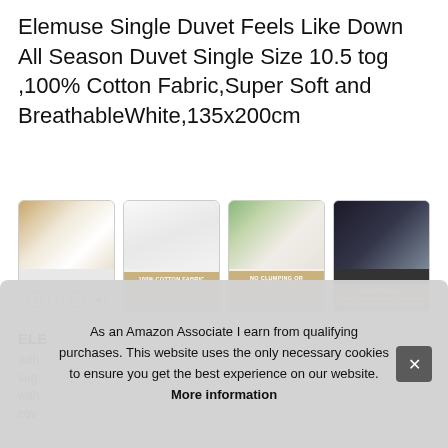Elemuse Single Duvet Feels Like Down All Season Duvet Single Size 10.5 tog ,100% Cotton Fabric,Super Soft and BreathableWhite,135x200cm
[Figure (photo): Four product thumbnail images showing white duvet. Image 1: duvet with icons. Image 2: fabric close-up with 100% COTTON FABRIC badge. Image 3: close-up showing NO CLUMPING OR COOL STEPS badge. Image 4: dark background with BREATHABLE badge.]
ELE... with sug with cove
As an Amazon Associate I earn from qualifying purchases. This website uses the only necessary cookies to ensure you get the best experience on our website. More information